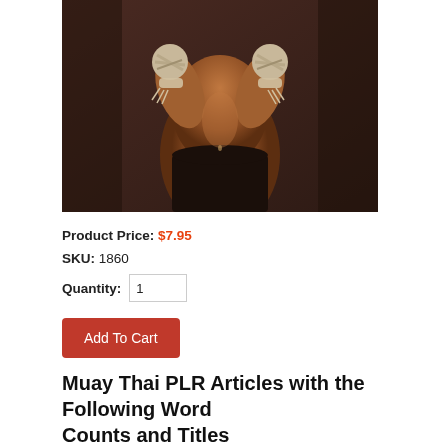[Figure (photo): A shirtless Muay Thai fighter with hands wrapped in traditional hand wraps raised in front of his chest, wearing dark shorts, against a dark brown background.]
Product Price: $7.95
SKU: 1860
Quantity: 1
Add To Cart
Muay Thai PLR Articles with the Following Word Counts and Titles